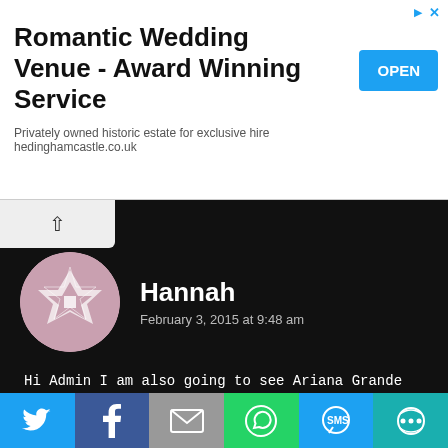[Figure (other): Advertisement banner for Romantic Wedding Venue with OPEN button]
Romantic Wedding Venue - Award Winning Service
Privately owned historic estate for exclusive hire
hedinghamcastle.co.uk
[Figure (other): Hannah user avatar - circular image with geometric pink/white pattern]
Hannah
February 3, 2015 at 9:48 am
Hi Admin I am also going to see Ariana Grande in july! I am so excited but I am wondering if my seats are okay? Its block bk 008 row NN seat 87. Thanks very much!
[Figure (other): Admin user avatar - circular image with geometric green/white pattern]
admin
February 7, 2015 at 5:25 pm
[Figure (other): Social sharing bar with Twitter, Facebook, Email, WhatsApp, SMS, Other icons]